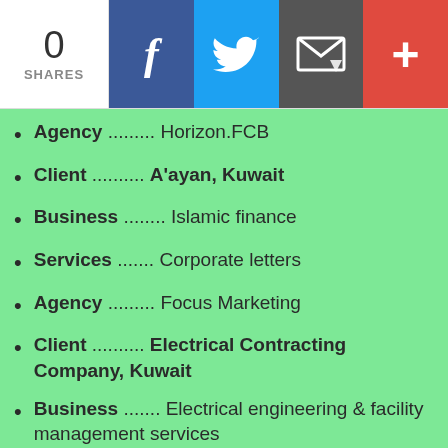0 SHARES
Agency .......... Horizon.FCB
Client ........... A'ayan, Kuwait
Business ........ Islamic finance
Services ........ Corporate letters
Agency .......... Focus Marketing
Client ........... Electrical Contracting Company, Kuwait
Business ........ Electrical engineering & facility management services
Services ........ Copy for annual guide book